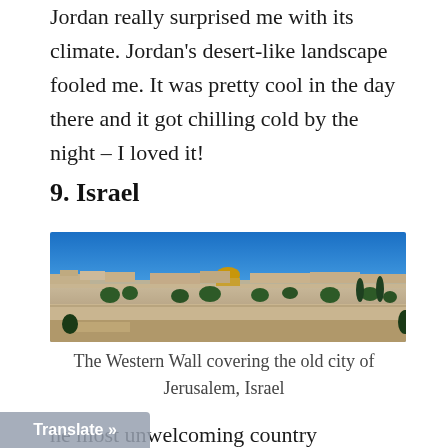Jordan really surprised me with its climate. Jordan's desert-like landscape fooled me. It was pretty cool in the day there and it got chilling cold by the night – I loved it!
9. Israel
[Figure (photo): Panoramic view of Jerusalem showing the Western Wall and Dome of the Rock under a clear blue sky]
The Western Wall covering the old city of Jerusalem, Israel
he most unwelcoming country